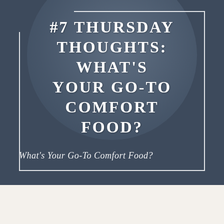#7 THURSDAY THOUGHTS: WHAT'S YOUR GO-TO COMFORT FOOD?
What's Your Go-To Comfort Food?
[Figure (illustration): Loading spinner icon, small circular dashed loader in light gray on cream background]